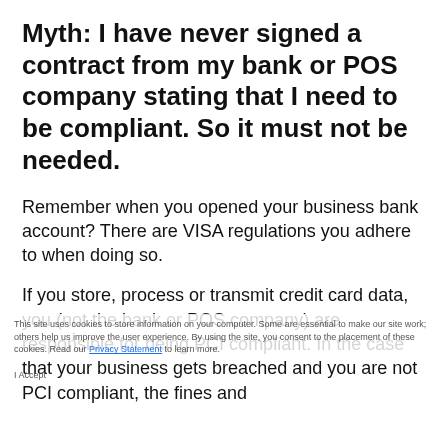Myth: I have never signed a contract from my bank or POS company stating that I need to be compliant. So it must not be needed.
Remember when you opened your business bank account? There are VISA regulations you adhere to when doing so.
If you store, process or transmit credit card data, you (not the bank or POS company) are responsible for being PCI compliant. In the case that your business gets breached and you are not PCI compliant, the fines and
This site uses cookies to store information on your computer. Some are essential to make our site work; others help us improve the user experience. By using the site, you consent to the placement of these cookies. Read our Privacy Statement to learn more.
I Accept